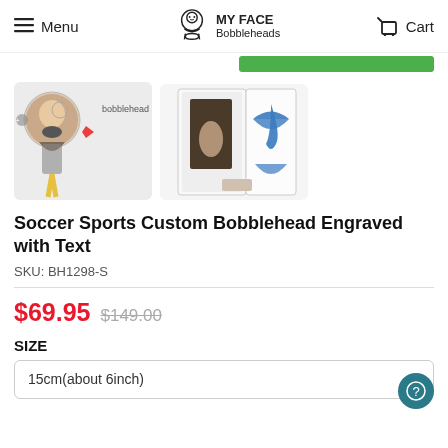Menu | MY FACE Bobbleheads | Cart
[Figure (screenshot): Green promotional banner bar]
[Figure (photo): Two product images: left shows a soccer bobblehead figurine with a man's face, right shows the product in a gift box with blue ribbon]
Soccer Sports Custom Bobblehead Engraved with Text
SKU: BH1298-S
$69.95 $149.00
SIZE
15cm(about 6inch)